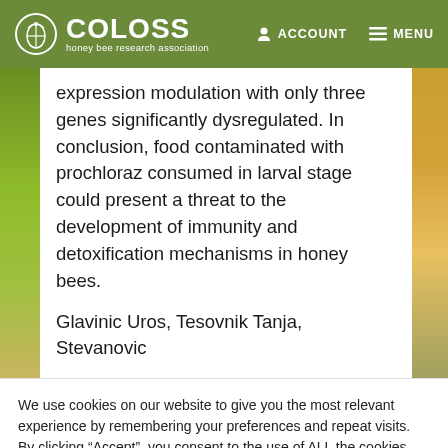COLOSS honey bee research association — ACCOUNT MENU
expression modulation with only three genes significantly dysregulated. In conclusion, food contaminated with prochloraz consumed in larval stage could present a threat to the development of immunity and detoxification mechanisms in honey bees.
Glavinic Uros, Tesovnik Tanja, Stevanovic
We use cookies on our website to give you the most relevant experience by remembering your preferences and repeat visits. By clicking “Accept”, you consent to the use of ALL the cookies.
Cookie settings
ACCEPT